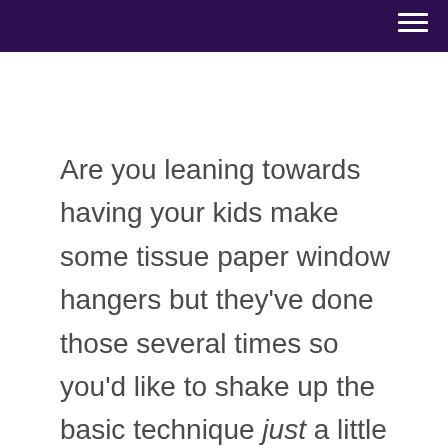Are you leaning towards having your kids make some tissue paper window hangers but they've done those several times so you'd like to shake up the basic technique just a little bit in order to keep them interested? Then try having them tear sheets of paper in all different colours and collage the